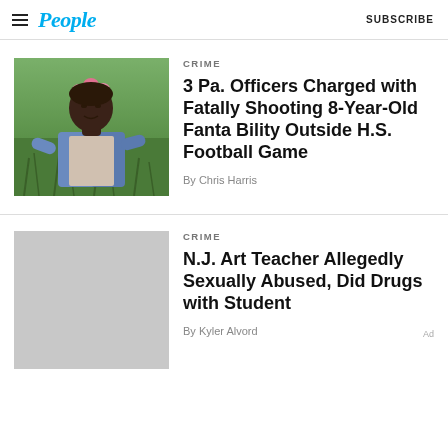People | SUBSCRIBE
[Figure (photo): Young girl wearing a pink flower crown, dressed in a denim jacket, standing outdoors on grass]
CRIME
3 Pa. Officers Charged with Fatally Shooting 8-Year-Old Fanta Bility Outside H.S. Football Game
By Chris Harris
[Figure (photo): Gray placeholder image for second article]
CRIME
N.J. Art Teacher Allegedly Sexually Abused, Did Drugs with Student
By Kyler Alvord